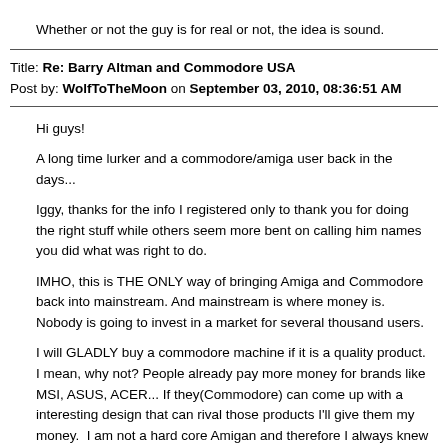Whether or not the guy is for real or not, the idea is sound.
Title: Re: Barry Altman and Commodore USA
Post by: WolfToTheMoon on September 03, 2010, 08:36:51 AM
Hi guys!

A long time lurker and a commodore/amiga user back in the days...

Iggy, thanks for the info I registered only to thank you for doing the right stuff while others seem more bent on calling him names you did what was right to do.

IMHO, this is THE ONLY way of bringing Amiga and Commodore back into mainstream. And mainstream is where money is. Nobody is going to invest in a market for several thousand users.

I will GLADLY buy a commodore machine if it is a quality product. I mean, why not? People already pay more money for brands like MSI, ASUS, ACER... If they(Commodore) can come up with a interesting design that can rival those products I'll give them my money.  I am not a hard core Amigan and therefore I always knew that Hyperion was fundamentally wrong. They really outdid themselves with this X1000 stuff, an obviously overexpensive product which has nowhere to go.